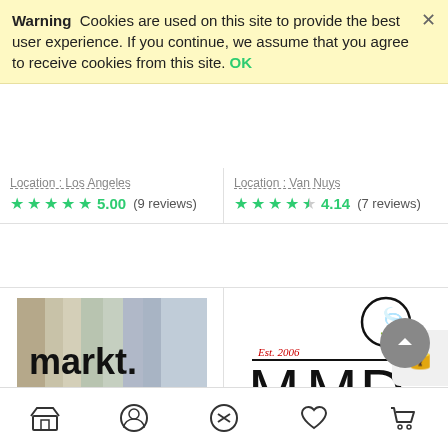Warning  Cookies are used on this site to provide the best user experience. If you continue, we assume that you agree to receive cookies from this site. OK
Location : Los Angeles  ★★★★★ 5.00 (9 reviews)
Location : Van Nuys  ★★★★½ 4.14 (7 reviews)
[Figure (logo): markt. Cannabis Dispensary logo with colorful vertical stripe background]
Location : Los Angeles  ★★★★★ 5.00 (1 review)
[Figure (logo): MMD Shops Est. 2006 logo with cannabis leaf icon]
Location : North Holly...  ★★★★★ 4.99 (92 r...)